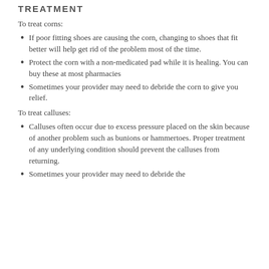TREATMENT
To treat corns:
If poor fitting shoes are causing the corn, changing to shoes that fit better will help get rid of the problem most of the time.
Protect the corn with a non-medicated pad while it is healing. You can buy these at most pharmacies
Sometimes your provider may need to debride the corn to give you relief.
To treat calluses:
Calluses often occur due to excess pressure placed on the skin because of another problem such as bunions or hammertoes. Proper treatment of any underlying condition should prevent the calluses from returning.
Sometimes your provider may need to debride the